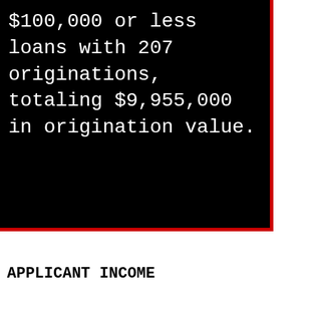$100,000 or less loans with 207 originations, totaling $9,955,000 in origination value.
APPLICANT INCOME